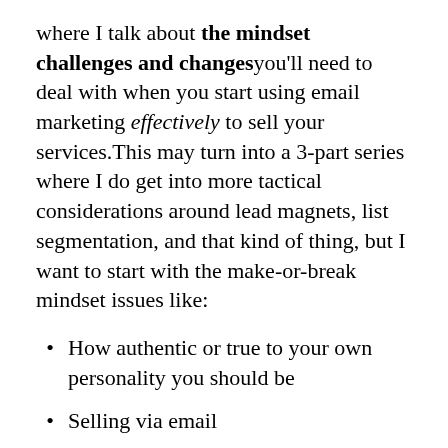where I talk about the mindset challenges and changes you'll need to deal with when you start using email marketing effectively to sell your services.This may turn into a 3-part series where I do get into more tactical considerations around lead magnets, list segmentation, and that kind of thing, but I want to start with the make-or-break mindset issues like:
How authentic or true to your own personality you should be
Selling via email